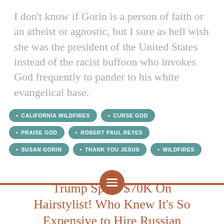I don't know if Gorin is a person of faith or an atheist or agnostic, but I sure as hell wish she was the president of the United States instead of the racist buffoon who invokes God frequently to pander to his white evangelical base.
CALIFORNIA WILDFIRES
CURSE GOD
PRAISE GOD
ROBERT PAUL REYES
SUSAN GORIN
THANK YOU JESUS
WILDFIRES
Trump Spent $70K On Hairstylist! Who Knew It's So Expensive to Hire Russian